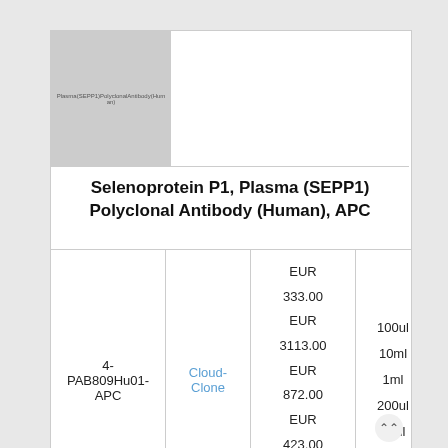[Figure (photo): Product image placeholder for Plasma(SEPP1)PolyclonalAntibody(Human) - shown as grey rectangle with text label]
Selenoprotein P1, Plasma (SEPP1) Polyclonal Antibody (Human), APC
|  | Vendor | Price | Size |
| --- | --- | --- | --- |
| 4-PAB809Hu01-APC | Cloud-Clone | EUR 333.00
EUR 3113.00
EUR 872.00
EUR 423.00
EUR 215.00 | 100ul
10ml
1ml
200ul
20ul |